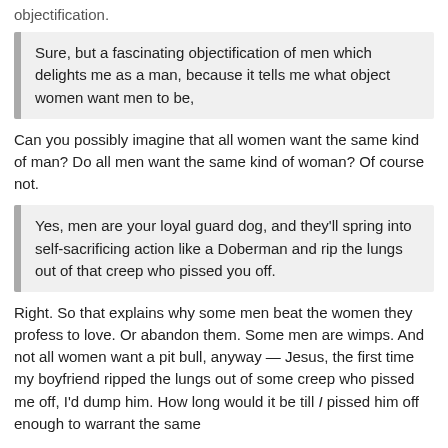objectification.
Sure, but a fascinating objectification of men which delights me as a man, because it tells me what object women want men to be,
Can you possibly imagine that all women want the same kind of man? Do all men want the same kind of woman? Of course not.
Yes, men are your loyal guard dog, and they'll spring into self-sacrificing action like a Doberman and rip the lungs out of that creep who pissed you off.
Right. So that explains why some men beat the women they profess to love. Or abandon them. Some men are wimps. And not all women want a pit bull, anyway — Jesus, the first time my boyfriend ripped the lungs out of some creep who pissed me off, I'd dump him. How long would it be till I pissed him off enough to warrant the same